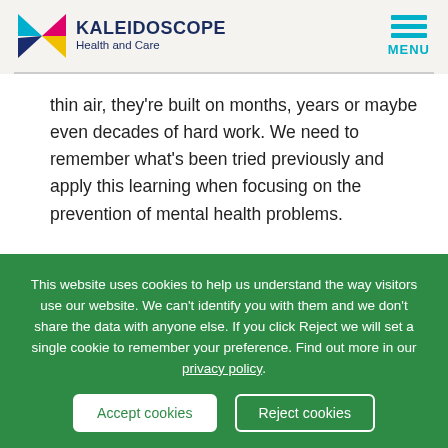KALEIDOSCOPE Health and Care
thin air, they're built on months, years or maybe even decades of hard work. We need to remember what's been tried previously and apply this learning when focusing on the prevention of mental health problems.
This website uses cookies to help us understand the way visitors use our website. We can't identify you with them and we don't share the data with anyone else. If you click Reject we will set a single cookie to remember your preference. Find out more in our privacy policy.